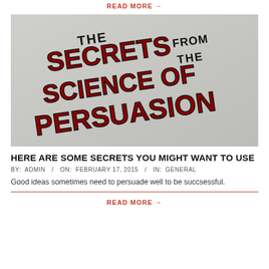READ MORE →
[Figure (photo): Illustrated title card showing 'The Secrets from the Science of Persuasion' in bold red and black hand-lettered text on a grey background.]
HERE ARE SOME SECRETS YOU MIGHT WANT TO USE
BY:  ADMIN  /  ON:  FEBRUARY 17, 2015  /  IN:  GENERAL
Good ideas sometimes need to persuade well to be succsessful.
READ MORE →